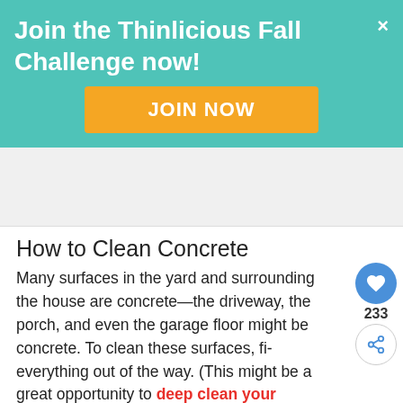Join the Thinlicious Fall Challenge now!
JOIN NOW
[Figure (other): Advertisement block, light gray background]
How to Clean Concrete
Many surfaces in the yard and surrounding the house are concrete—the driveway, the porch, and even the garage floor might be concrete. To clean these surfaces, fi... everything out of the way. (This might be a great opportunity to deep clean your
[Figure (infographic): Social sharing widget: heart button with count 233 and share button]
[Figure (infographic): What's Next box: thumbnail image and text 'How to Illness Proof Your...']